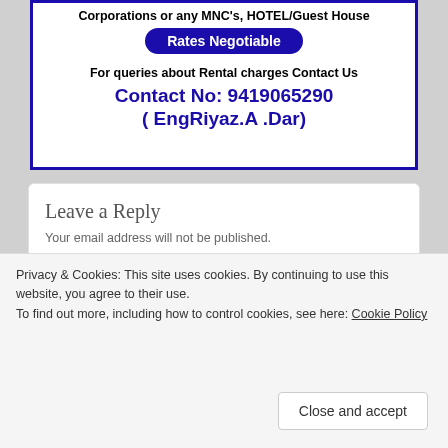[Figure (other): Advertisement box with blue border. Text: Corporations or any MNC's, HOTEL/Guest House. Blue rounded button: Rates Negotiable. For queries about Rental charges Contact Us. Contact No: 9419065290 ( EngRiyaz.A .Dar)]
Leave a Reply
Your email address will not be published.
Add your comment
Privacy & Cookies: This site uses cookies. By continuing to use this website, you agree to their use. To find out more, including how to control cookies, see here: Cookie Policy
Close and accept
Name